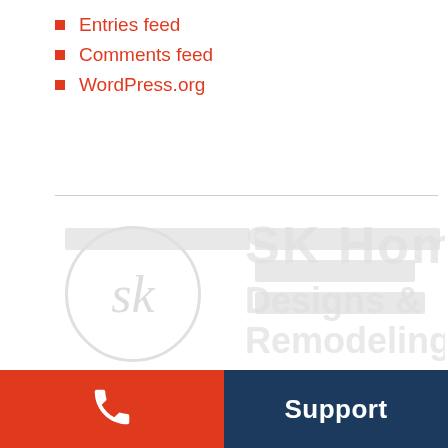Entries feed
Comments feed
WordPress.org
[Figure (logo): SK Home Designs and Remodeling logo with watermark text and circular SK monogram]
We are licensed, bonded and fully insured General Contractors. We at SK Home Designs and Remodeling take great pride in our work and our abilities to make our clients feel important and to make sure you feel the same. We believe in quality rather then quantity.
We are named as Best of House Service contractors
Phone | Support